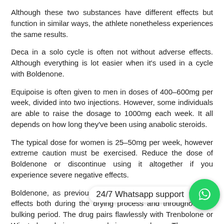Although these two substances have different effects but function in similar ways, the athlete nonetheless experiences the same results.
Deca in a solo cycle is often not without adverse effects. Although everything is lot easier when it's used in a cycle with Boldenone.
Equipoise is often given to men in doses of 400–600mg per week, divided into two injections. However, some individuals are able to raise the dosage to 1000mg each week. It all depends on how long they've been using anabolic steroids.
The typical dose for women is 25–50mg per week, however extreme caution must be exercised. Reduce the dose of Boldenone or discontinue using it altogether if you experience severe negative effects.
Boldenone, as previously established, can have beneficial effects both during the drying process and throughout the bulking period. The drug pairs flawlessly with Trenbolone or Winstrol during a drying cycle. The user [overlaid: 24/7 Whatsapp support] m a result, and subcutaneous fat can be reduced by a signifi amount.